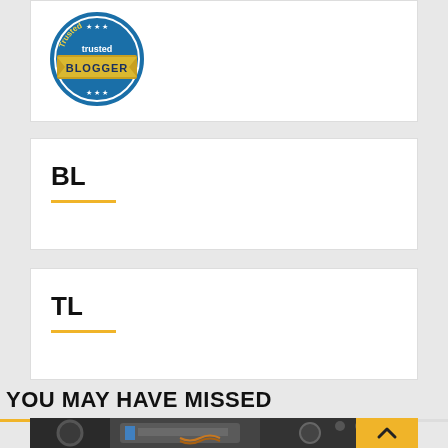[Figure (logo): Trusted Blogger badge/logo with blue circular border, gold ribbon banner, stars, and text 'Trusted BLOGGER']
BL
TL
YOU MAY HAVE MISSED
[Figure (photo): Close-up photograph of engine/mechanical components including a fuel cell unit, springs, wheels, and wiring in grayscale]